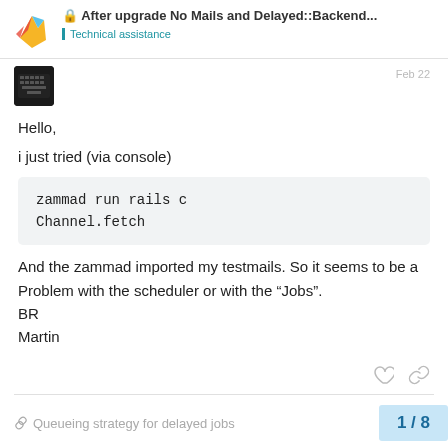After upgrade No Mails and Delayed::Backend... / Technical assistance
Hello,

i just tried (via console)
And the zammad imported my testmails. So it seems to be a Problem with the scheduler or with the “Jobs”.
BR
Martin
Queueing strategy for delayed jobs   1 / 8